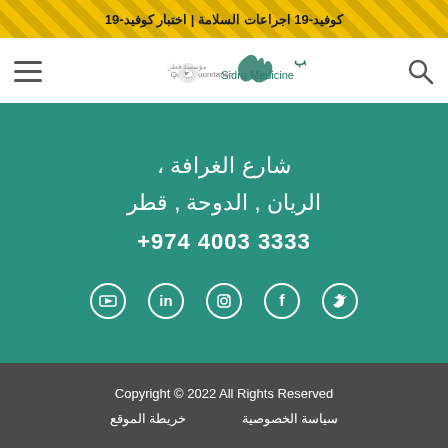كوفيد-19 اجراعات السلامة | اختبار كوفيد-19
[Figure (logo): Sidra Medicine logo with Qatar Foundation branding and Arabic text]
شارع الغرافة ،
الريان , الدوحة , قطر
+974 4003 3333
[Figure (infographic): Social media icons: YouTube, LinkedIn, Instagram, Facebook, Twitter]
Copyright © 2022 All Rights Reserved
خريطة الموقع   سياسة الخصوصية